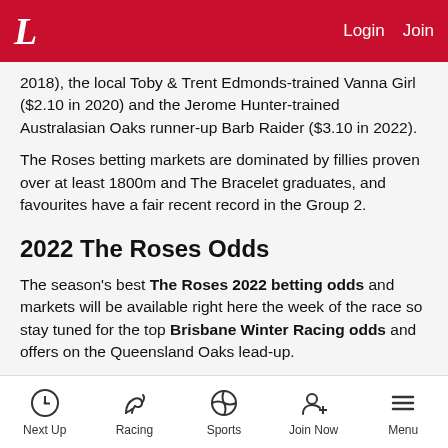L  Login  Join
2018), the local Toby & Trent Edmonds-trained Vanna Girl ($2.10 in 2020) and the Jerome Hunter-trained Australasian Oaks runner-up Barb Raider ($3.10 in 2022).
The Roses betting markets are dominated by fillies proven over at least 1800m and The Bracelet graduates, and favourites have a fair recent record in the Group 2.
2022 The Roses Odds
The season's best The Roses 2022 betting odds and markets will be available right here the week of the race so stay tuned for the top Brisbane Winter Racing odds and offers on the Queensland Oaks lead-up.
Odds are subject to fluctuation. For current odds on all of our live markets, please visit ladbrokes.com.au.
Next Up  Racing  Sports  Join Now  Menu